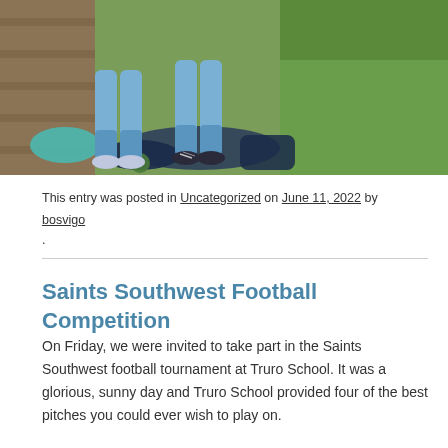[Figure (photo): Photo showing children's legs in blue football socks and sports shoes near wooden bleachers, with bags on the ground and green grass in background]
This entry was posted in Uncategorized on June 11, 2022 by bosvigo.
Saints Southwest Football Competition
On Friday, we were invited to take part in the Saints Southwest football tournament at Truro School. It was a glorious, sunny day and Truro School provided four of the best pitches you could ever wish to play on.